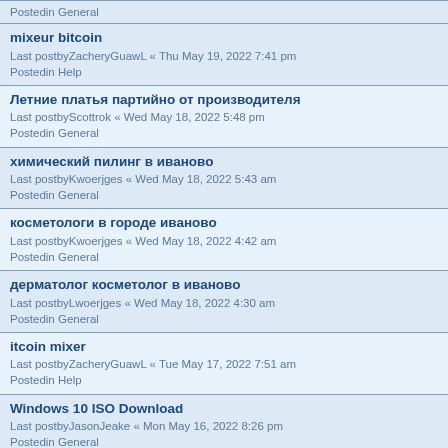Postedin General
mixeur bitcoin
Last postbyZacheryGuawL « Thu May 19, 2022 7:41 pm
Postedin Help
Летние платья партийно от производителя
Last postbyScottrok « Wed May 18, 2022 5:48 pm
Postedin General
химический пилинг в иваново
Last postbyKwoerjges « Wed May 18, 2022 5:43 am
Postedin General
косметологи в городе иваново
Last postbyKwoerjges « Wed May 18, 2022 4:42 am
Postedin General
дерматолог косметолог в иваново
Last postbyLwoerjges « Wed May 18, 2022 4:30 am
Postedin General
itcoin mixer
Last postbyZacheryGuawL « Tue May 17, 2022 7:51 am
Postedin Help
Windows 10 ISO Download
Last postbyJasonJeake « Mon May 16, 2022 8:26 pm
Postedin General
Download OpenBullet
Last postbyDavidjuirm « Mon May 16, 2022 8:25 pm
Postedin General